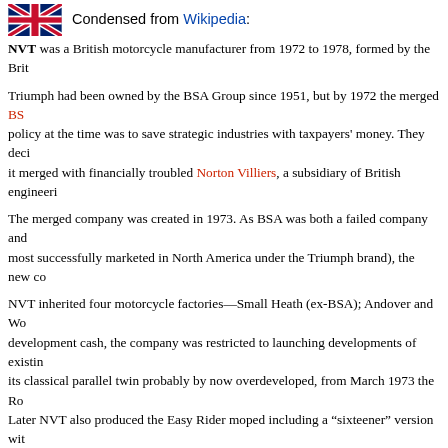Condensed from Wikipedia:
NVT was a British motorcycle manufacturer from 1972 to 1978, formed by the Brit
Triumph had been owned by the BSA Group since 1951, but by 1972 the merged BS... policy at the time was to save strategic industries with taxpayers' money. They deci... it merged with financially troubled Norton Villiers, a subsidiary of British engineeri...
The merged company was created in 1973. As BSA was both a failed company and ... most successfully marketed in North America under the Triumph brand), the new co...
NVT inherited four motorcycle factories—Small Heath (ex-BSA); Andover and Wo... development cash, the company was restricted to launching developments of existin... its classical parallel twin probably by now overdeveloped, from March 1973 the Ro... Later NVT also produced the Easy Rider moped including a “sixteener” version wit... Yamaha engines.
NVT was eventually liquidated in 1978. Even though Norton Villiers Triumph is no... marketing rights to Triumph were sold to the Meriden workers’ co-operative in 197... situated in Hinckley, Leicestershire.
[Figure (illustration): Illustration of a blue Easy Rider moped/bicycle with silver frame elements, handlebars, seat, and wheels visible.]